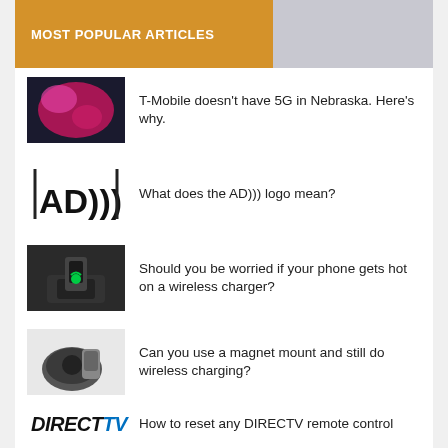MOST POPULAR ARTICLES
T-Mobile doesn't have 5G in Nebraska. Here's why.
What does the AD))) logo mean?
Should you be worried if your phone gets hot on a wireless charger?
Can you use a magnet mount and still do wireless charging?
How to reset any DIRECTV remote control
DIRECTV Error Codes and Solutions
Do you really need to dial 1 before the area code (if you're on a cell phone?)
Why do phones have the * and # buttons? (And why do they call the # button
"pound?")